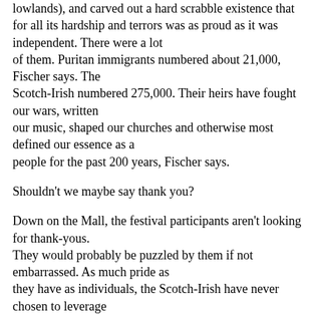lowlands), and carved out a hard scrabble existence that for all its hardship and terrors was as proud as it was independent. There were a lot of them. Puritan immigrants numbered about 21,000, Fischer says. The Scotch-Irish numbered 275,000. Their heirs have fought our wars, written our music, shaped our churches and otherwise most defined our essence as a people for the past 200 years, Fischer says.
Shouldn't we maybe say thank you?
Down on the Mall, the festival participants aren't looking for thank-yous. They would probably be puzzled by them if not embarrassed. As much pride as they have as individuals, the Scotch-Irish have never chosen to leverage their collective ethnicity into political power, unless you count the election of Andrew Jackson as president -- their first great political hurrah.
Asked, for example, if the Appalachian foodstuffs she was hawking on the Mall...